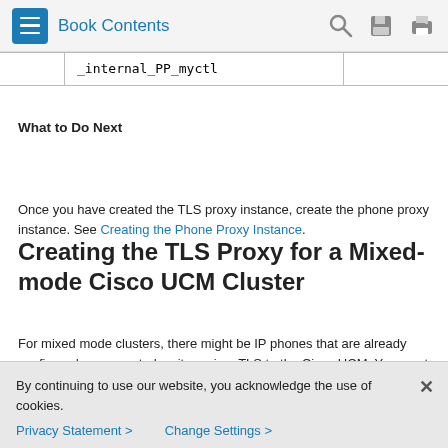Book Contents
|  | _internal_PP_myctl |  |
| --- | --- | --- |
What to Do Next
Once you have created the TLS proxy instance, create the phone proxy instance. See Creating the Phone Proxy Instance.
Creating the TLS Proxy for a Mixed-mode Cisco UCM Cluster
For mixed mode clusters, there might be IP phones that are already configured as encrypted so it requires TLS to the Cisco UCM. You must configure the LDC issuer for the TLS proxy.
|  | Command | Purpose |
| --- | --- | --- |
By continuing to use our website, you acknowledge the use of cookies.
Privacy Statement > Change Settings >